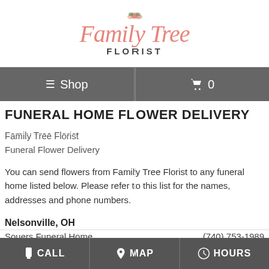[Figure (logo): Family Tree Florist logo with pink cursive 'Family Tree' text, a small floral illustration, and 'FLORIST' in bold dark letters below]
≡ Shop    🛒 0
FUNERAL HOME FLOWER DELIVERY
Family Tree Florist
Funeral Flower Delivery
You can send flowers from Family Tree Florist to any funeral home listed below. Please refer to this list for the names, addresses and phone numbers.
Nelsonville, OH
Souers Funeral Home    (740) 753-1989
CALL   MAP   HOURS